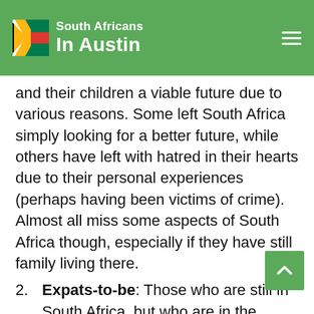South Africans In Austin
and their children a viable future due to various reasons. Some left South Africa simply looking for a better future, while others have left with hatred in their hearts due to their personal experiences (perhaps having been victims of crime). Almost all miss some aspects of South Africa though, especially if they have still family living there.
2. Expats-to-be: Those who are still in South Africa, but who are in the process of immigrating. Their views on South Africa are pretty much the same as the expats... or else, why bother immigrating?